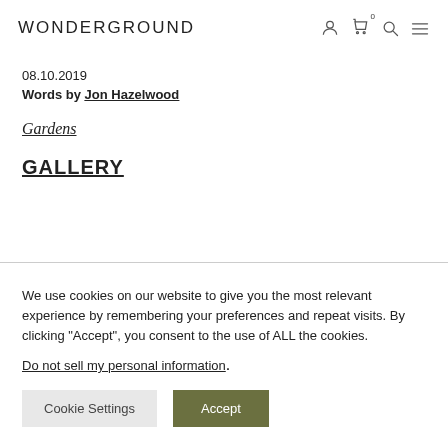WONDERGROUND
08.10.2019
Words by Jon Hazelwood
Gardens
GALLERY
We use cookies on our website to give you the most relevant experience by remembering your preferences and repeat visits. By clicking “Accept”, you consent to the use of ALL the cookies.
Do not sell my personal information.
Cookie Settings
Accept